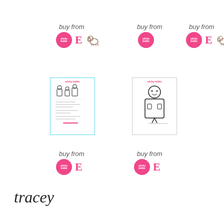buy from
[Figure (infographic): Row of purchase icons: pink sticky-kiddo badge, pink Etsy E, dog illustration - repeated three times across the top]
[Figure (illustration): Product thumbnail with teal border showing sticky kiddo logo and illustrated children figures with text]
[Figure (illustration): Product thumbnail with gray border showing sticky kiddo logo and outline illustration of a bear/robot figure]
buy from
buy from
[Figure (infographic): Row of purchase icons: pink sticky-kiddo badge and pink Etsy E]
[Figure (infographic): Row of purchase icons: pink sticky-kiddo badge and pink Etsy E]
tracey